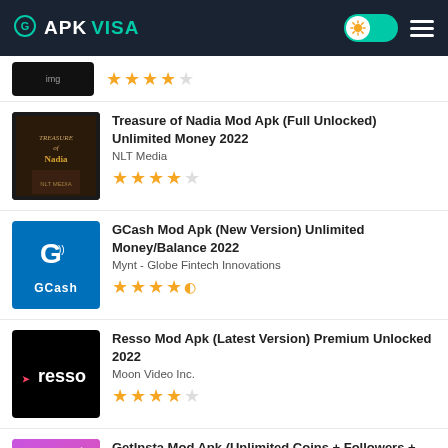APK VISA
(partial item, 4.5 stars)
Treasure of Nadia Mod Apk (Full Unlocked) Unlimited Money 2022 | NLT Media | 4/5 stars
GCash Mod Apk (New Version) Unlimited Money/Balance 2022 | Mynt - Globe Fintech Innovations | 4.5/5 stars
Resso Mod Apk (Latest Version) Premium Unlocked 2022 | Moon Video Inc. | 4/5 stars
GetInsta Mod Apk (Unlimited Coins + Followers + Energy) 2022 (partial)